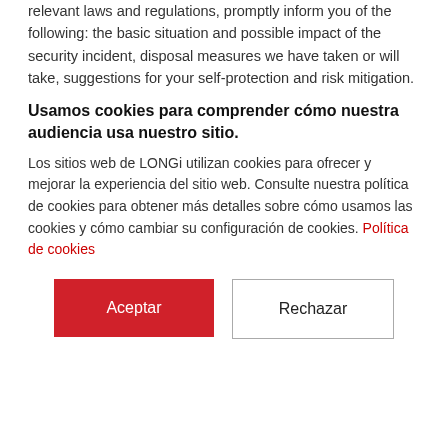relevant laws and regulations, promptly inform you of the following: the basic situation and possible impact of the security incident, disposal measures we have taken or will take, suggestions for your self-protection and risk mitigation.
Usamos cookies para comprender cómo nuestra audiencia usa nuestro sitio.
Los sitios web de LONGi utilizan cookies para ofrecer y mejorar la experiencia del sitio web. Consulte nuestra política de cookies para obtener más detalles sobre cómo usamos las cookies y cómo cambiar su configuración de cookies. Política de cookies
[Figure (other): Two buttons: 'Aceptar' (red filled) and 'Rechazar' (white with border)]